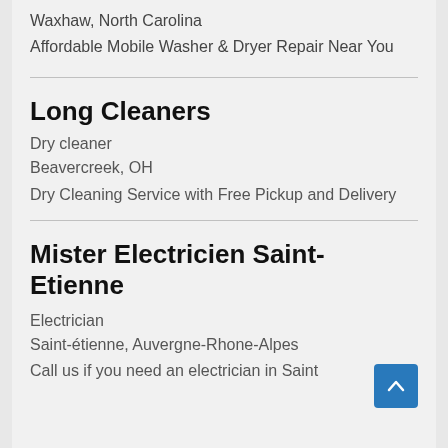Waxhaw, North Carolina
Affordable Mobile Washer & Dryer Repair Near You
Long Cleaners
Dry cleaner
Beavercreek, OH
Dry Cleaning Service with Free Pickup and Delivery
Mister Electricien Saint-Etienne
Electrician
Saint-étienne, Auvergne-Rhone-Alpes
Call us if you need an electrician in Saint